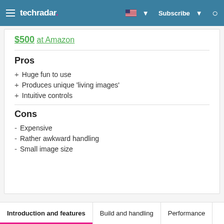techradar | Subscribe
$500 at Amazon
Pros
+ Huge fun to use
+ Produces unique 'living images'
+ Intuitive controls
Cons
- Expensive
- Rather awkward handling
- Small image size
Introduction and features | Build and handling | Performance